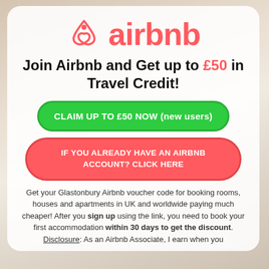[Figure (logo): Airbnb logo: pink/coral triangle symbol and 'airbnb' wordmark in coral/salmon color]
Join Airbnb and Get up to £50 in Travel Credit!
CLAIM UP TO £50 NOW (new users)
IF YOU ALREADY HAVE AN AIRBNB ACCOUNT? CLICK HERE
Get your Glastonbury Airbnb voucher code for booking rooms, houses and apartments in UK and worldwide paying much cheaper! After you sign up using the link, you need to book your first accommodation within 30 days to get the discount. Disclosure: As an Airbnb Associate, I earn when you